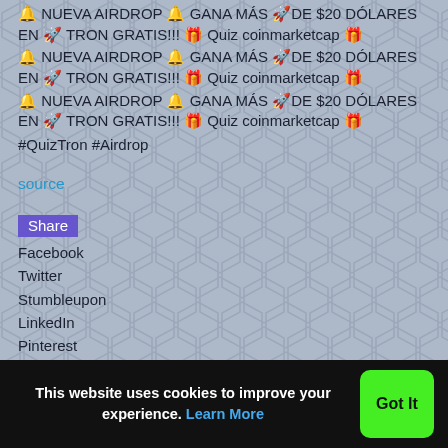🔔 NUEVA AIRDROP 🔔 GANA MÁS 🚀DE $20 DÓLARES EN 🚀 TRON GRATIS!!! 🎁 Quiz coinmarketcap 🎁
🔔 NUEVA AIRDROP 🔔 GANA MÁS 🚀DE $20 DÓLARES EN 🚀 TRON GRATIS!!! 🎁 Quiz coinmarketcap 🎁
🔔 NUEVA AIRDROP 🔔 GANA MÁS 🚀DE $20 DÓLARES EN 🚀 TRON GRATIS!!! 🎁 Quiz coinmarketcap 🎁
#QuizTron #Airdrop
source
Share
Facebook
Twitter
Stumbleupon
LinkedIn
Pinterest
This website uses cookies to improve your experience. Learn More